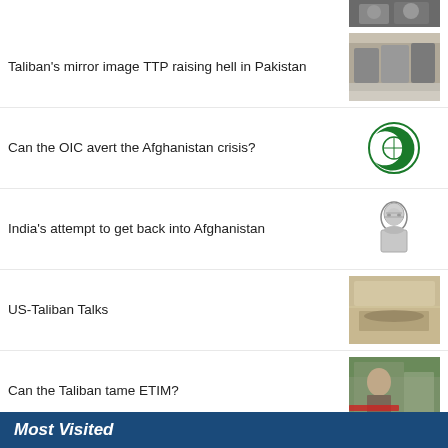[Figure (photo): Partial top image cropped at top of page]
Taliban's mirror image TTP raising hell in Pakistan
[Figure (photo): Group of armed men, TTP article thumbnail]
Can the OIC avert the Afghanistan crisis?
[Figure (logo): OIC logo - green crescent and globe symbol]
India's attempt to get back into Afghanistan
[Figure (illustration): Black and white sketch portrait of a man]
US-Taliban Talks
[Figure (photo): Conference table scene, US-Taliban talks thumbnail]
Can the Taliban tame ETIM?
[Figure (photo): Soldier saluting, ETIM article thumbnail]
Daesh in Afghanistan: Challenge and opportunity for Taliban
[Figure (photo): Crowd scene, Daesh article thumbnail]
ISIS-K is taking over Afghanistan. The US is to blame
[Figure (photo): Armed fighters on road, ISIS-K article thumbnail]
Most Visited